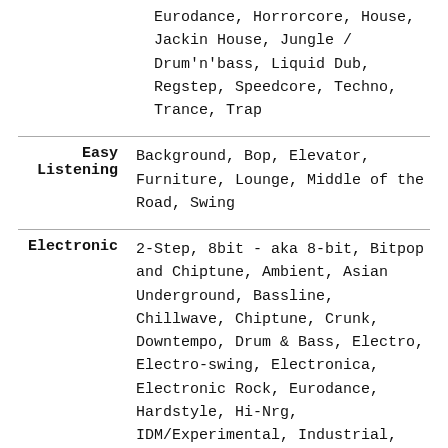Eurodance, Horrorcore, House, Jackin House, Jungle / Drum'n'bass, Liquid Dub, Regstep, Speedcore, Techno, Trance, Trap
Easy Listening: Background, Bop, Elevator, Furniture, Lounge, Middle of the Road, Swing
Electronic: 2-Step, 8bit - aka 8-bit, Bitpop and Chiptune, Ambient, Asian Underground, Bassline, Chillwave, Chiptune, Crunk, Downtempo, Drum & Bass, Electro, Electro-swing, Electronica, Electronic Rock, Eurodance, Hardstyle, Hi-Nrg, IDM/Experimental, Industrial, Trip Hop, UK Garage